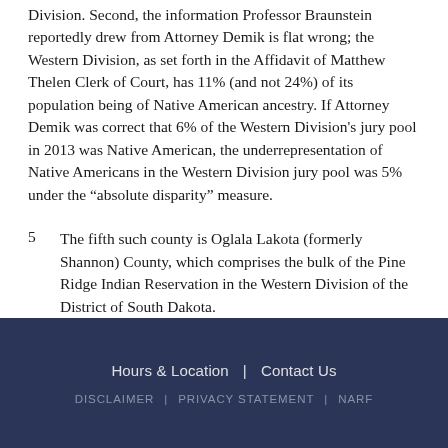Division. Second, the information Professor Braunstein reportedly drew from Attorney Demik is flat wrong; the Western Division, as set forth in the Affidavit of Matthew Thelen Clerk of Court, has 11% (and not 24%) of its population being of Native American ancestry. If Attorney Demik was correct that 6% of the Western Division's jury pool in 2013 was Native American, the underrepresentation of Native Americans in the Western Division jury pool was 5% under the “absolute disparity” measure.
5   The fifth such county is Oglala Lakota (formerly Shannon) County, which comprises the bulk of the Pine Ridge Indian Reservation in the Western Division of the District of South Dakota.
Hours & Location | Contact Us | DISCLAIMER | PRIVACY STATEMENT | NARF